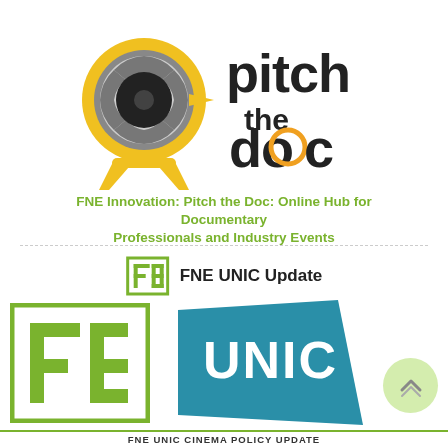[Figure (logo): Pitch the Doc logo: camera/eye icon in yellow/grey with text 'pitch the doc' in black]
FNE Innovation: Pitch the Doc: Online Hub for Documentary Professionals and Industry Events
[Figure (logo): FNE logo small green square with FNE letters]
FNE UNIC Update
[Figure (logo): FNE logo large green and white square with FNE letters, and UNIC teal polygon logo side by side]
FNE UNIC CINEMA POLICY UPDATE